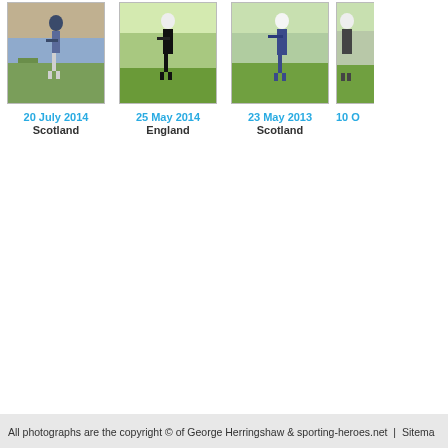[Figure (photo): Golfer mid-swing at outdoor tournament, Scotland, 20 July 2014]
20 July 2014
Scotland
[Figure (photo): Golfer mid-swing on green course, England, 25 May 2014]
25 May 2014
England
[Figure (photo): Golfer mid-swing on course, Scotland, 23 May 2013]
23 May 2013
Scotland
[Figure (photo): Partially visible golfer, cropped at right edge]
10 O
All photographs are the copyright © of George Herringshaw & sporting-heroes.net  |  Sitema